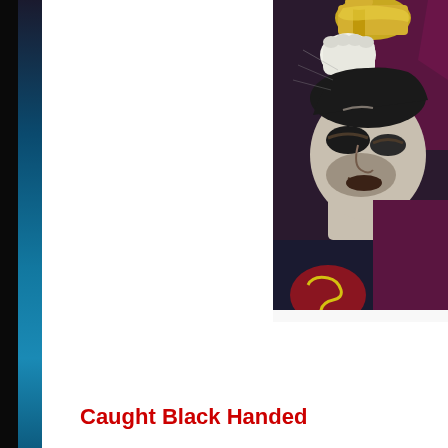[Figure (illustration): Comic book illustration showing a superhero (Superman) being struck, with a fist holding a glowing yellow object hitting him. The character has closed eyes, a bruised face, wearing a dark costume with an S emblem visible at the bottom.]
Caught Black Handed